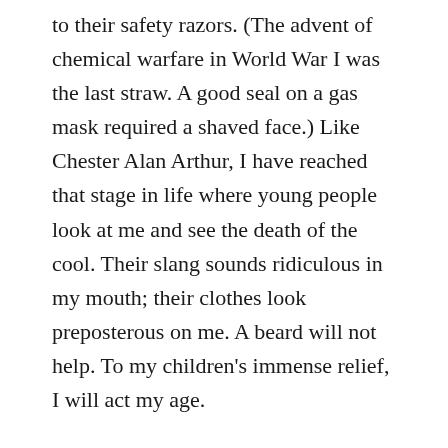to their safety razors. (The advent of chemical warfare in World War I was the last straw. A good seal on a gas mask required a shaved face.) Like Chester Alan Arthur, I have reached that stage in life where young people look at me and see the death of the cool. Their slang sounds ridiculous in my mouth; their clothes look preposterous on me. A beard will not help. To my children's immense relief, I will act my age.
For another—well, let's just say there is a difference between that blend of salt and pepper that makes one The Most Interesting Man in the World and the snowy aspect of Father Time. The former look is in my rear view mirror, and the latter is upon me. Grizzled is hot. Talmudic is not.